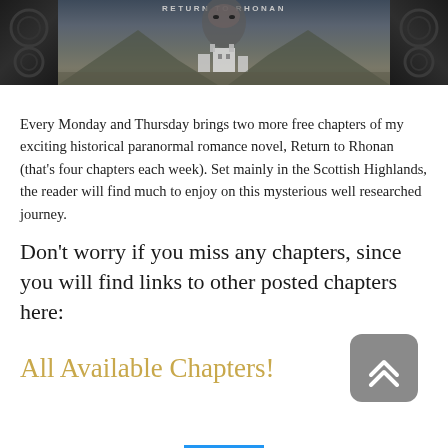[Figure (photo): Book cover image for 'Return to Rhonan' showing a woman's face, a Scottish castle in a mountain valley with dramatic clouds, and decorative Celtic stone carvings on the sides. Title text 'RETURN TO RHONAN' appears at the top.]
Every Monday and Thursday brings two more free chapters of my exciting historical paranormal romance novel, Return to Rhonan (that's four chapters each week). Set mainly in the Scottish Highlands, the reader will find much to enjoy on this mysterious well researched journey.
Don't worry if you miss any chapters, since you will find links to other posted chapters here:
All Available Chapters!